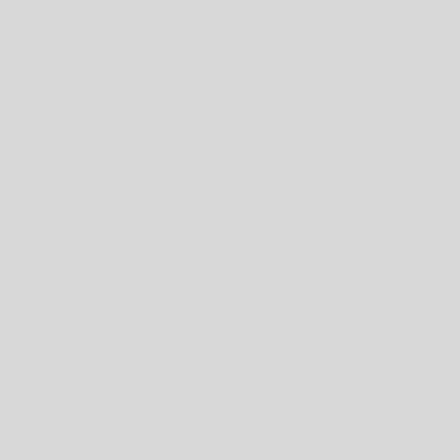to make your day just great, we aim to make... located at: 1100 Pea... Atlanta, GA 30309 a... 926-6073
Nationwide US Re...
Scottsdale Land...
Scottsdale Arizona's ... Provider. We do it all ... and service to landsc... need or project - trus... Scottsdale Landscap... Landscaping Service... landscape maintenar... design. Whatever the... else except Scottsda...
Scottsdale AZ Re...
Sonal's Bijoux &...
Sonal's Bijoux & Ada... shop in India located ... have a very wide ran... diamond jewelleries o... jewellery online shop... our sonal's bijoux col... After the success of S... realized the importan... jewellery and launche... Adawna. Sonal's Bijn...